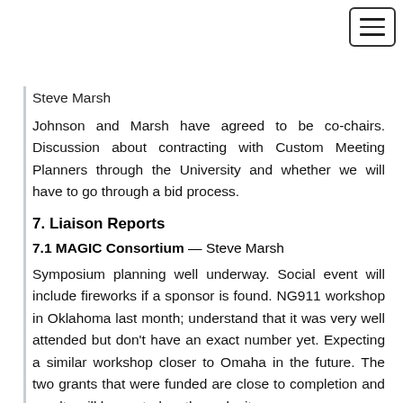Steve Marsh
Johnson and Marsh have agreed to be co-chairs. Discussion about contracting with Custom Meeting Planners through the University and whether we will have to go through a bid process.
7. Liaison Reports
7.1 MAGIC Consortium — Steve Marsh
Symposium planning well underway. Social event will include fireworks if a sponsor is found. NG911 workshop in Oklahoma last month; understand that it was very well attended but don't have an exact number yet. Expecting a similar workshop closer to Omaha in the future. The two grants that were funded are close to completion and results will be posted on the web site.